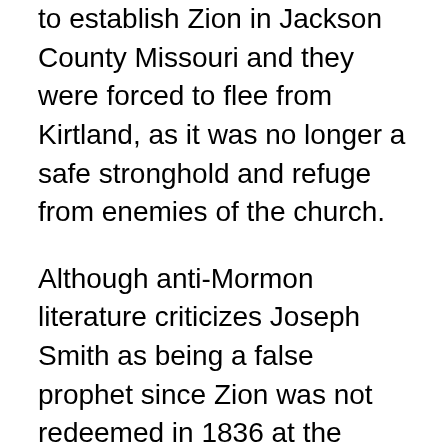to establish Zion in Jackson County Missouri and they were forced to flee from Kirtland, as it was no longer a safe stronghold and refuge from enemies of the church.
Although anti-Mormon literature criticizes Joseph Smith as being a false prophet since Zion was not redeemed in 1836 at the appointed time, it should be remembered that Joseph Smith never prophesied that Zion would be established on that date, he simply stated that September 11 1836 was the appointed time, predicated on the Saints faithfulness in establishing Zion based on the principles of the law of consecration.
Despite the spin that is put on the historical events by critics and historical revisionists, the failure of the Church to establish Zion at the appointed place and at the appointed time is an astonishing fulfillment of the parable of the Ten Virgins and the fulfillment of the law of